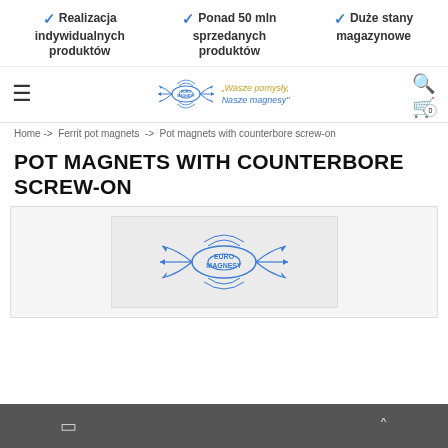✓ Realizacja indywidualnych produktów
✓ Ponad 50 mln sprzedanych produktów
✓ Duże stany magazynowe
[Figure (logo): Euro Magnesy logo with magnetic field lines and tagline Wasze pomysły, Nasze magnesy]
Home -> Ferrit pot magnets -> Pot magnets with counterbore screw-on
POT MAGNETS WITH COUNTERBORE SCREW-ON
[Figure (logo): Euro Magnesy circular logo with blue magnetic field lines illustration]